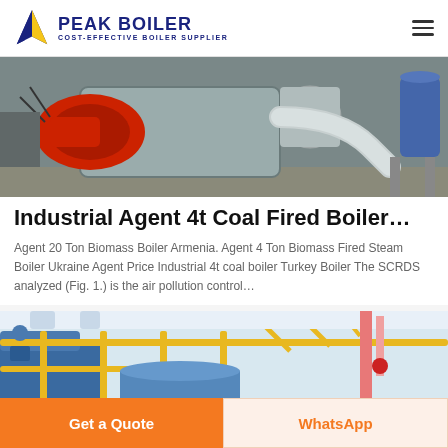PEAK BOILER - COST-EFFECTIVE BOILER SUPPLIER
[Figure (photo): Industrial boiler equipment photo showing red burner, silver metallic pipes, and blue industrial tank in a factory setting]
Industrial Agent 4t Coal Fired Boiler…
Agent 20 Ton Biomass Boiler Armenia. Agent 4 Ton Biomass Fired Steam Boiler Ukraine Agent Price Industrial 4t coal boiler Turkey Boiler The SCRDS analyzed (Fig. 1.) is the air pollution control…
[Figure (photo): Industrial boiler facility with yellow railings, blue equipment, and orange piping visible]
Get a Quote
WhatsApp